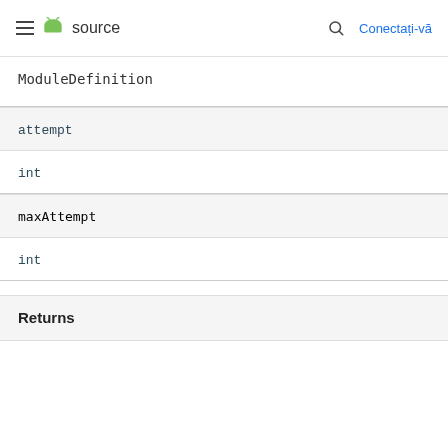≡ source  🔍  Conectați-vă
ModuleDefinition
attempt
int
maxAttempt
int
Returns